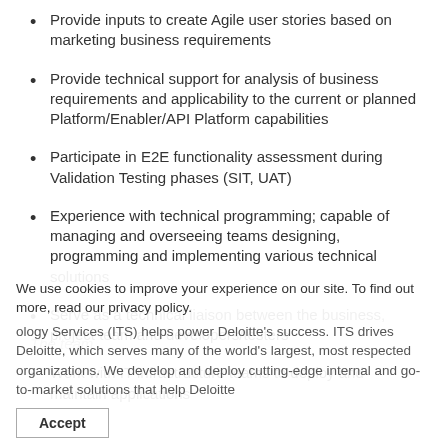Provide inputs to create Agile user stories based on marketing business requirements
Provide technical support for analysis of business requirements and applicability to the current or planned Platform/Enabler/API Platform capabilities
Participate in E2E functionality assessment during Validation Testing phases (SIT, UAT)
Experience with technical programming; capable of managing and overseeing teams designing, programming and implementing various technical solutions
Serve as a technical liaison between the business, project team and developers/testers
Work with IT infrastructure teams to deploy and maintain applications
The team
We use cookies to improve your experience on our site. To find out more, read our privacy policy. Information Technology Services (ITS) helps power Deloitte's success. ITS drives Deloitte, which serves many of the world's largest, most respected organizations. We develop and deploy cutting-edge internal and go-to-market solutions that help Deloitte